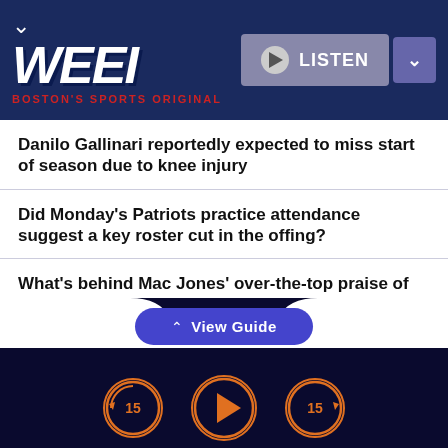[Figure (logo): WEEI radio station header with logo and LISTEN button]
Danilo Gallinari reportedly expected to miss start of season due to knee injury
Did Monday's Patriots practice attendance suggest a key roster cut in the offing?
What's behind Mac Jones' over-the-top praise of Judge and Patricia?
Belichick's nonchalance about the Patriots' brutal preseason play is concerning
[Figure (screenshot): View Guide button and audio playback controls with rewind 15, play, and forward 15 buttons]